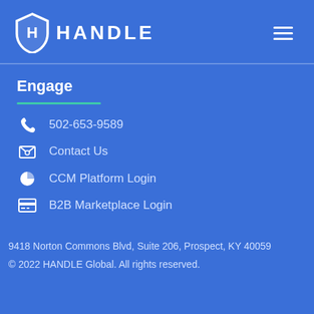[Figure (logo): HANDLE Global logo with shield icon and text HANDLE]
Engage
502-653-9589
Contact Us
CCM Platform Login
B2B Marketplace Login
9418 Norton Commons Blvd, Suite 206, Prospect, KY 40059
© 2022 HANDLE Global. All rights reserved.